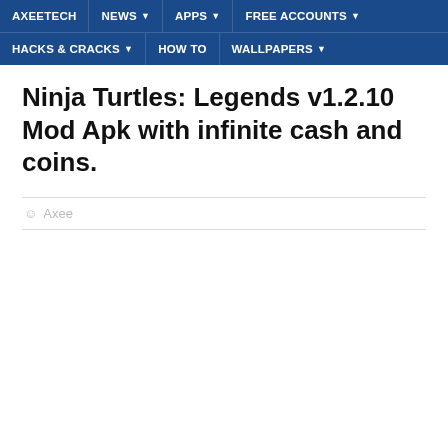AXEETECH | NEWS | APPS | FREE ACCOUNTS | HACKS & CRACKS | HOW TO | WALLPAPERS
Ninja Turtles: Legends v1.2.10 Mod Apk with infinite cash and coins.
Axee